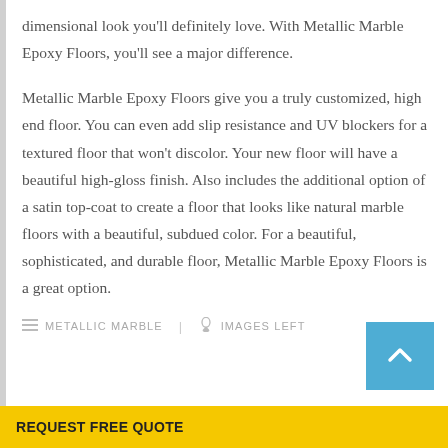dimensional look you'll definitely love. With Metallic Marble Epoxy Floors, you'll see a major difference.

Metallic Marble Epoxy Floors give you a truly customized, high end floor. You can even add slip resistance and UV blockers for a textured floor that won't discolor. Your new floor will have a beautiful high-gloss finish. Also includes the additional option of a satin top-coat to create a floor that looks like natural marble floors with a beautiful, subdued color. For a beautiful, sophisticated, and durable floor, Metallic Marble Epoxy Floors is a great option.
METALLIC MARBLE   IMAGES LEFT
REQUEST FREE QUOTE